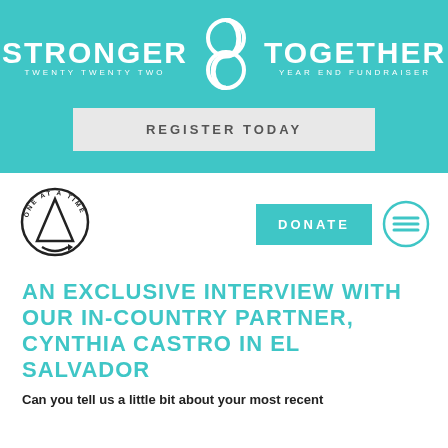[Figure (logo): Stronger Together Twenty Twenty Two Year End Fundraiser logo with teal background and stylized S icon]
REGISTER TODAY
[Figure (logo): One At A Time circular logo with triangle/mountain shape]
DONATE
AN EXCLUSIVE INTERVIEW WITH OUR IN-COUNTRY PARTNER, CYNTHIA CASTRO IN EL SALVADOR
Can you tell us a little bit about your most recent